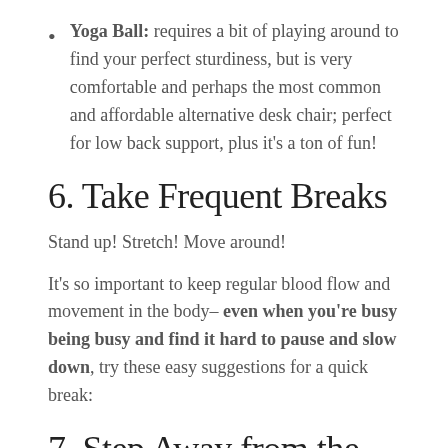Yoga Ball: requires a bit of playing around to find your perfect sturdiness, but is very comfortable and perhaps the most common and affordable alternative desk chair; perfect for low back support, plus it's a ton of fun!
6. Take Frequent Breaks
Stand up! Stretch! Move around!
It's so important to keep regular blood flow and movement in the body– even when you're busy being busy and find it hard to pause and slow down, try these easy suggestions for a quick break:
7. Step Away from the Screen
If your eyes have been glued to your laptop, tablet